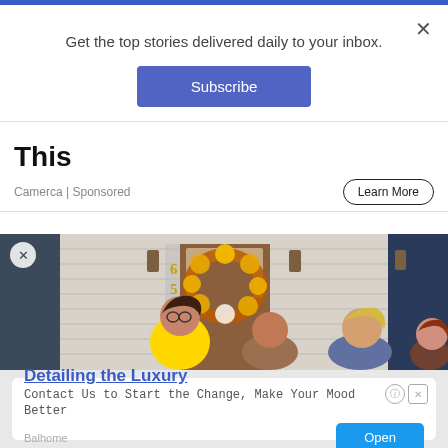Get the top stories delivered daily to your inbox.
Subscribe
This
Camerca | Sponsored
Learn More
[Figure (photo): Group of four women standing in front of a house door decorated with a sunflower wreath. House number 556 visible on the left. Woman in yellow shirt in foreground wearing glasses.]
Detailing the Luxury
Contact Us to Start the Change, Make Your Mood Better
Balhome
Open